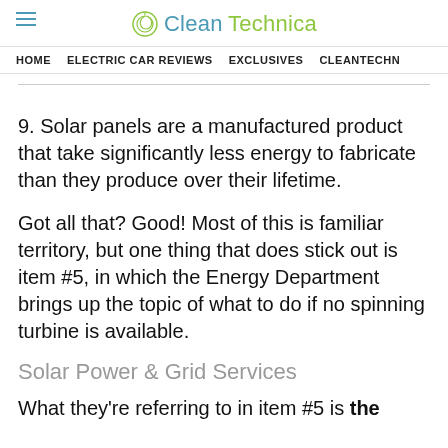CleanTechnica
HOME | ELECTRIC CAR REVIEWS | EXCLUSIVES | CLEANTECHN
9. Solar panels are a manufactured product that take significantly less energy to fabricate than they produce over their lifetime.
Got all that? Good! Most of this is familiar territory, but one thing that does stick out is item #5, in which the Energy Department brings up the topic of what to do if no spinning turbine is available.
Solar Power & Grid Services
What they're referring to in item #5 is the